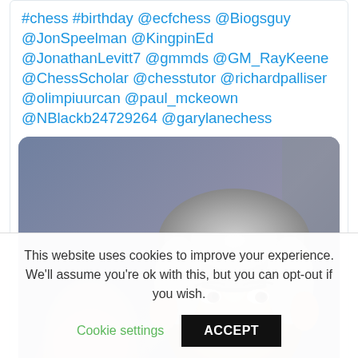#chess #birthday @ecfchess @Biogsguy @JonSpeelman @KingpinEd @JonathanLevitt7 @gmmds @GM_RayKeene @ChessScholar @chesstutor @richardpalliser @olimpiuurcan @paul_mckeown @NBlackb24729264 @garylanechess
[Figure (photo): A middle-aged man with grey hair, resting his chin on his hand in a thoughtful pose, wearing a white shirt with a red lanyard. A blurred woman is visible in the background.]
This website uses cookies to improve your experience. We'll assume you're ok with this, but you can opt-out if you wish.
Cookie settings
ACCEPT